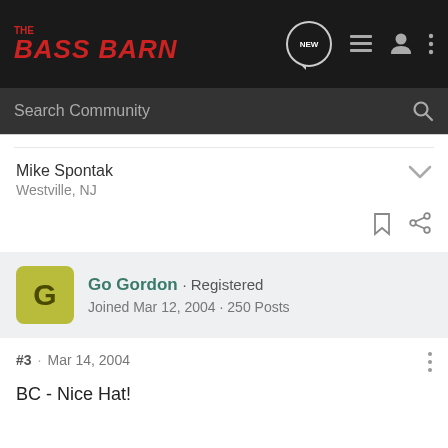[Figure (logo): The Bass Barn logo in red italic text on dark background]
Search Community
Mike Spontak
Westville, NJ
Go Gordon · Registered
Joined Mar 12, 2004 · 250 Posts
#3 · Mar 14, 2004
BC - Nice Hat!